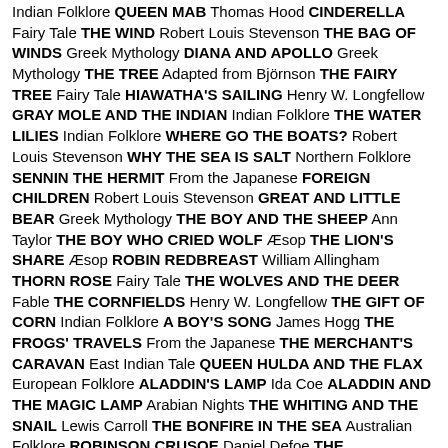Indian Folklore QUEEN MAB Thomas Hood CINDERELLA Fairy Tale THE WIND Robert Louis Stevenson THE BAG OF WINDS Greek Mythology DIANA AND APOLLO Greek Mythology THE TREE Adapted from Björnson THE FAIRY TREE Fairy Tale HIAWATHA'S SAILING Henry W. Longfellow GRAY MOLE AND THE INDIAN Indian Folklore THE WATER LILIES Indian Folklore WHERE GO THE BOATS? Robert Louis Stevenson WHY THE SEA IS SALT Northern Folklore SENNIN THE HERMIT From the Japanese FOREIGN CHILDREN Robert Louis Stevenson GREAT AND LITTLE BEAR Greek Mythology THE BOY AND THE SHEEP Ann Taylor THE BOY WHO CRIED WOLF Æsop THE LION'S SHARE Æsop ROBIN REDBREAST William Allingham THORN ROSE Fairy Tale THE WOLVES AND THE DEER Fable THE CORNFIELDS Henry W. Longfellow THE GIFT OF CORN Indian Folklore A BOY'S SONG James Hogg THE FROGS' TRAVELS From the Japanese THE MERCHANT'S CARAVAN East Indian Tale QUEEN HULDA AND THE FLAX European Folklore ALADDIN'S LAMP Ida Coe ALADDIN AND THE MAGIC LAMP Arabian Nights THE WHITING AND THE SNAIL Lewis Carroll THE BONFIRE IN THE SEA Australian Folklore ROBINSON CRUSOE Daniel Defoe THE WONDERFUL WORLD THE MAGIC GIRDLE The Brothers Grimm THE LAND OF STORY BOOKS